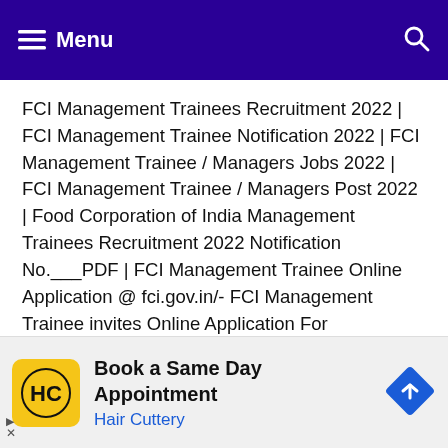Menu
FCI Management Trainees Recruitment 2022 | FCI Management Trainee Notification 2022 | FCI Management Trainee / Managers Jobs 2022 | FCI Management Trainee / Managers Post 2022 | Food Corporation of India Management Trainees Recruitment 2022 Notification No.___PDF | FCI Management Trainee Online Application @ fci.gov.in/- FCI Management Trainee invites Online Application For Recruitment of Management ...
Read more
[Figure (other): Advertisement banner for Hair Cuttery: Book a Same Day Appointment]